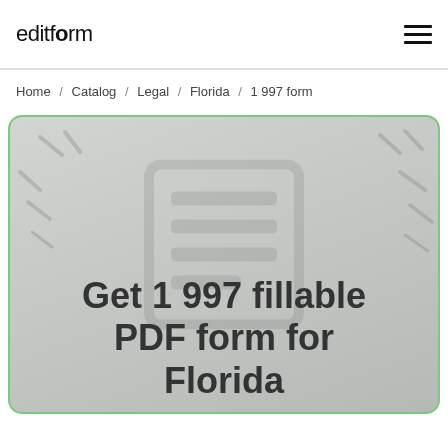editform
Home / Catalog / Legal / Florida / 1 997 form
[Figure (illustration): Hero card with light grey gradient background, decorative pencil/dash marks, a faint form-icon watermark, and large bold text reading 'Get 1 997 fillable PDF form for Florida'. Card has a green rounded border.]
Get 1 997 fillable PDF form for Florida